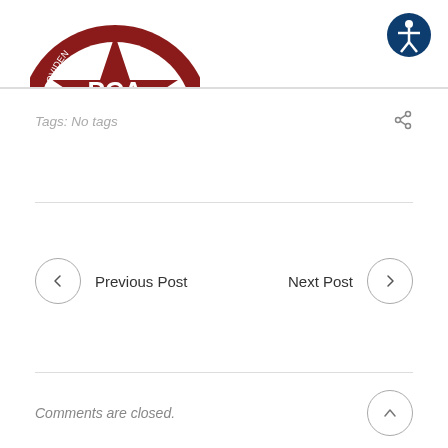[Figure (logo): PCA (Providence Community Acupuncture or similar) circular logo in dark red/maroon with star and text around the border, partially cropped at top]
[Figure (logo): Accessibility icon — person with arms outstretched in a circle, dark navy blue background, top right corner]
Tags: No tags
Previous Post
Next Post
Comments are closed.